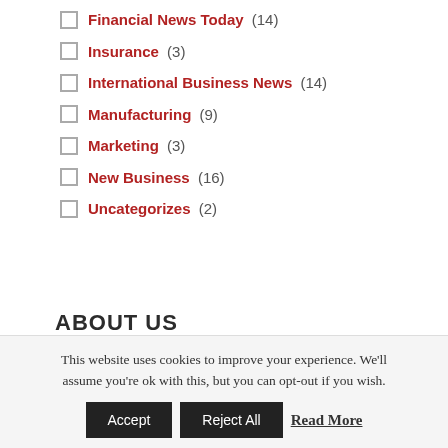Financial News Today (14)
Insurance (3)
International Business News (14)
Manufacturing (9)
Marketing (3)
New Business (16)
Uncategorizes (2)
ABOUT US
This website uses cookies to improve your experience. We'll assume you're ok with this, but you can opt-out if you wish.
Accept | Reject All | Read More